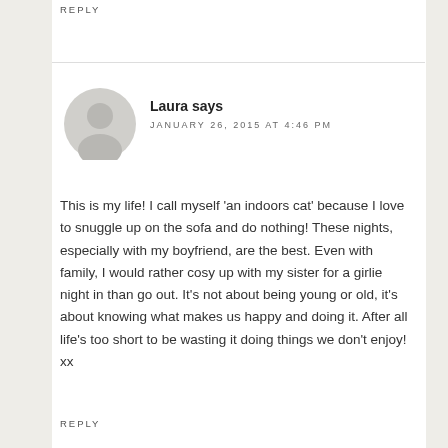REPLY
Laura says
JANUARY 26, 2015 AT 4:46 PM
This is my life! I call myself 'an indoors cat' because I love to snuggle up on the sofa and do nothing! These nights, especially with my boyfriend, are the best. Even with family, I would rather cosy up with my sister for a girlie night in than go out. It's not about being young or old, it's about knowing what makes us happy and doing it. After all life's too short to be wasting it doing things we don't enjoy! xx
REPLY